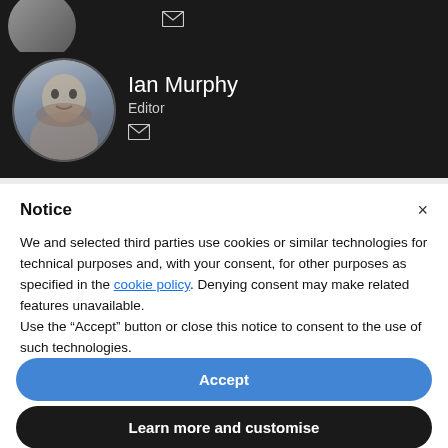[Figure (photo): Cropped circular profile photo of a person, partially visible at top of dark background section, with envelope/email icon below]
Ian Murphy
Editor
Notice
We and selected third parties use cookies or similar technologies for technical purposes and, with your consent, for other purposes as specified in the cookie policy. Denying consent may make related features unavailable.
Use the “Accept” button or close this notice to consent to the use of such technologies.
Accept
Learn more and customise